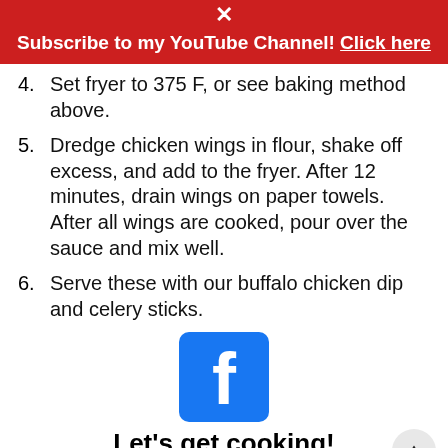Subscribe to my YouTube Channel! Click here
4. Set fryer to 375 F, or see baking method above.
5. Dredge chicken wings in flour, shake off excess, and add to the fryer. After 12 minutes, drain wings on paper towels. After all wings are cooked, pour over the sauce and mix well.
6. Serve these with our buffalo chicken dip and celery sticks.
[Figure (logo): Facebook logo icon (blue square with white 'f')]
Let's get cooking!
Join me @cheftips on Facebook & Instagram